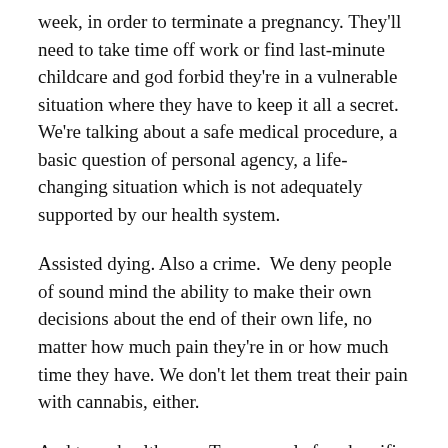week, in order to terminate a pregnancy. They'll need to take time off work or find last-minute childcare and god forbid they're in a vulnerable situation where they have to keep it all a secret. We're talking about a safe medical procedure, a basic question of personal agency, a life-changing situation which is not adequately supported by our health system.
Assisted dying. Also a crime.  We deny people of sound mind the ability to make their own decisions about the end of their own life, no matter how much pain they're in or how much time they have. We don't let them treat their pain with cannabis, either.
And trans health care. Trans people face horrific difficulties getting the health care they need, and that's putting aside the horrific levels of harassment, discrimination and violence they experience. The waiting list for trans feminine care can take years for a...